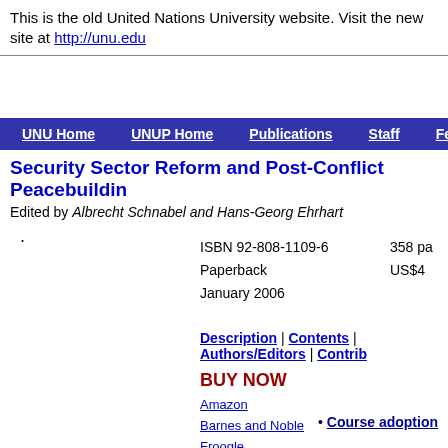This is the old United Nations University website. Visit the new site at http://unu.edu
UNU Home | UNUP Home | Publications | Staff | Feedback | Sea...
Security Sector Reform and Post-Conflict Peacebuilding
Edited by Albrecht Schnabel and Hans-Georg Ehrhart
.
ISBN 92-808-1109-6
Paperback
January 2006
358 pa...
US$4...
Description | Contents | Authors/Editors | Contrib...
BUY NOW
Amazon
Barnes and Noble
Froogle
United Nati...
Course adoption